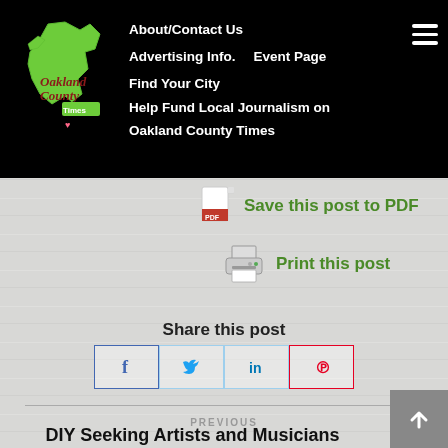Oakland County Times — About/Contact Us | Advertising Info. | Event Page | Find Your City | Help Fund Local Journalism on Oakland County Times
[Figure (logo): Oakland County Times logo: Michigan state outline in green with 'Oakland County Times' text]
Save this post to PDF
Print this post
Share this post
[Figure (infographic): Social share buttons: Facebook, Twitter, LinkedIn, Pinterest]
PREVIOUS
DIY Seeking Artists and Musicians
NEXT